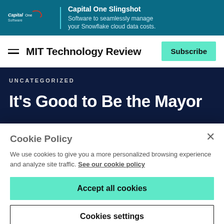[Figure (logo): Capital One Software advertisement banner with logo and text: 'Capital One Slingshot - Software to seamlessly manage your Snowflake cloud data costs.']
MIT Technology Review
UNCATEGORIZED
It's Good to Be the Mayor
Cookie Policy
We use cookies to give you a more personalized browsing experience and analyze site traffic. See our cookie policy
Accept all cookies
Cookies settings